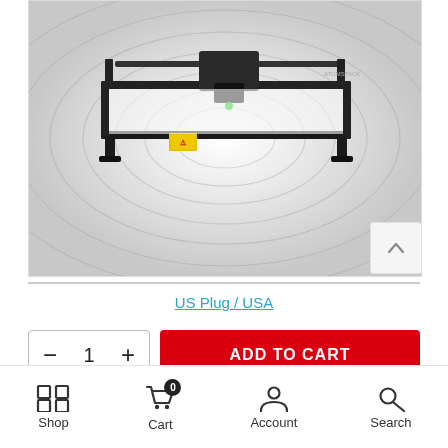[Figure (photo): A black laser engraver machine (ATOMSTACK brand) photographed from above at an angle, showing a rectangular frame with CNC-style gantry axes, on a white/grey radial background. Partial title 'LASER ENGRAVER' visible at top.]
US Plug / USA
— 1 + ADD TO CART
Shop  Cart 0  Account  Search